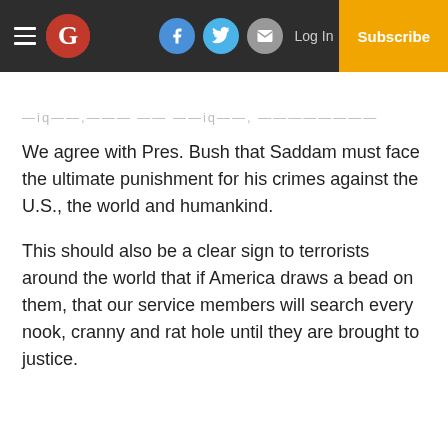Guardian newspaper header with hamburger menu, logo, social icons (Facebook, Twitter, Email), Log In, and Subscribe button
—iq——,——— —— ——iq——, ————————
We agree with Pres. Bush that Saddam must face the ultimate punishment for his crimes against the U.S., the world and humankind.
This should also be a clear sign to terrorists around the world that if America draws a bead on them, that our service members will search every nook, cranny and rat hole until they are brought to justice.